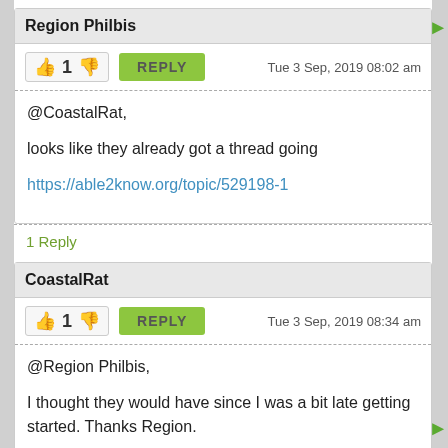Region Philbis
Tue 3 Sep, 2019 08:02 am
@CoastalRat,

looks like they already got a thread going

https://able2know.org/topic/529198-1
1 Reply
CoastalRat
Tue 3 Sep, 2019 08:34 am
@Region Philbis,
I thought they would have since I was a bit late getting started. Thanks Region.